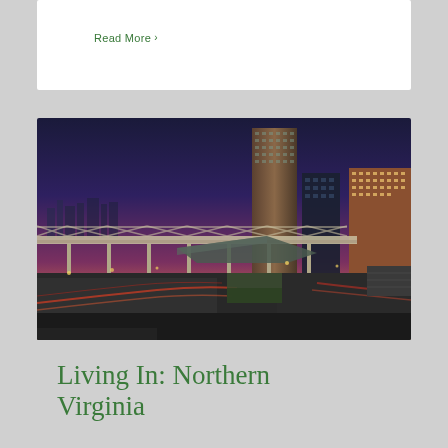Read More ›
[Figure (photo): Aerial dusk/night cityscape of a Northern Virginia urban area, showing a tall glass skyscraper, an elevated transit or pedestrian bridge structure, highway roads with light trails from passing vehicles, and illuminated buildings against a purple-orange sunset sky.]
Living In: Northern Virginia